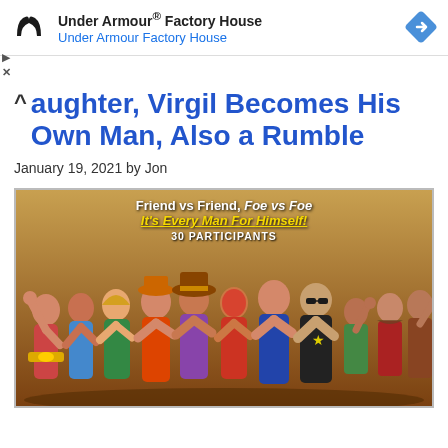[Figure (logo): Under Armour logo (black UA logo mark) and a blue diamond navigation icon]
Under Armour® Factory House
Under Armour Factory House
aughter, Virgil Becomes His Own Man, Also a Rumble
January 19, 2021 by Jon
[Figure (illustration): Royal Rumble promotional poster showing wrestlers grouped together. Text overlay reads: Friend vs Friend, Foe vs Foe / It's Every Man For Himself! / 30 PARTICIPANTS]